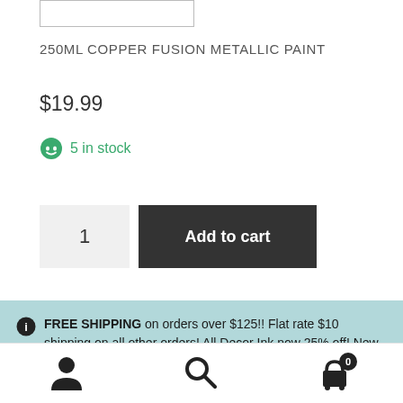250ML COPPER FUSION METALLIC PAINT
$19.99
5 in stock
1  Add to cart
FREE SHIPPING on orders over $125!! Flat rate $10 shipping on all other orders! All Decor Ink now 25% off! New Muddaritaville Stencils 25% off!
Dismiss